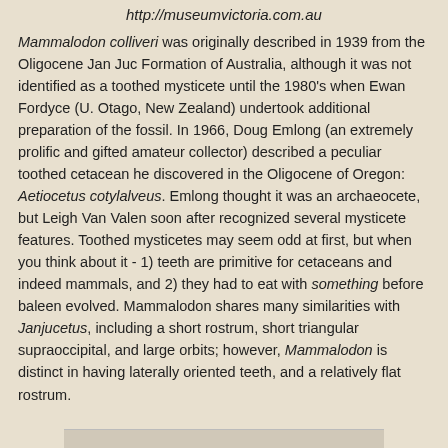http://museumvictoria.com.au
Mammalodon colliveri was originally described in 1939 from the Oligocene Jan Juc Formation of Australia, although it was not identified as a toothed mysticete until the 1980's when Ewan Fordyce (U. Otago, New Zealand) undertook additional preparation of the fossil. In 1966, Doug Emlong (an extremely prolific and gifted amateur collector) described a peculiar toothed cetacean he discovered in the Oligocene of Oregon: Aetiocetus cotylalveus. Emlong thought it was an archaeocete, but Leigh Van Valen soon after recognized several mysticete features. Toothed mysticetes may seem odd at first, but when you think about it - 1) teeth are primitive for cetaceans and indeed mammals, and 2) they had to eat with something before baleen evolved. Mammalodon shares many similarities with Janjucetus, including a short rostrum, short triangular supraoccipital, and large orbits; however, Mammalodon is distinct in having laterally oriented teeth, and a relatively flat rostrum.